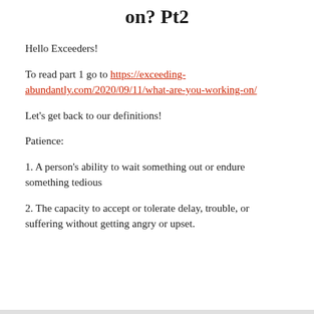on? Pt2
Hello Exceeders!
To read part 1 go to https://exceeding-abundantly.com/2020/09/11/what-are-you-working-on/
Let’s get back to our definitions!
Patience:
1. A person’s ability to wait something out or endure something tedious
2. The capacity to accept or tolerate delay, trouble, or suffering without getting angry or upset.